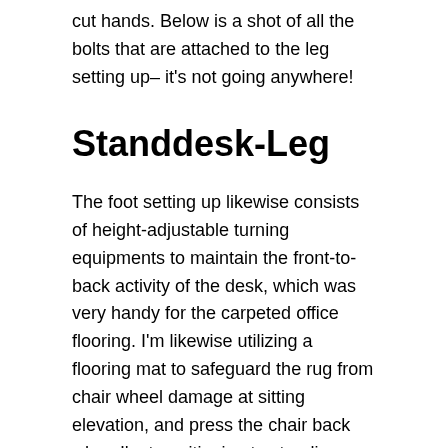cut hands. Below is a shot of all the bolts that are attached to the leg setting up– it's not going anywhere!
Standdesk-Leg
The foot setting up likewise consists of height-adjustable turning equipments to maintain the front-to-back activity of the desk, which was very handy for the carpeted office flooring. I'm likewise utilizing a flooring mat to safeguard the rug from chair wheel damage at sitting elevation, and press the chair back when I'm transitioning to standing height.
Standdesk-Foot